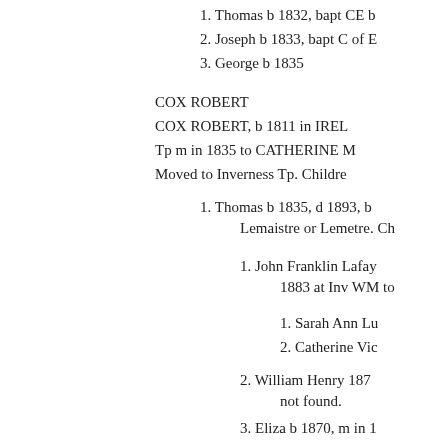1. Thomas b 1832, bapt CE [...]
2. Joseph b 1833, bapt C of [...]
3. George b 1835
COX ROBERT
COX ROBERT, b 1811 in IREL[AND...]
Tp m in 1835 to CATHERINE M[...]
Moved to Inverness Tp. Childre[n...]
1. Thomas b 1835, d 1893, b[...] Lemaistre or Lemetre. Ch[...]
1. John Franklin Lafay[ette...] 1883 at Inv WM to [...]
1. Sarah Ann Lu[...]
2. Catherine Vic[...]
2. William Henry 187[...] not found.
3. Eliza b 1870, m in 1[...]